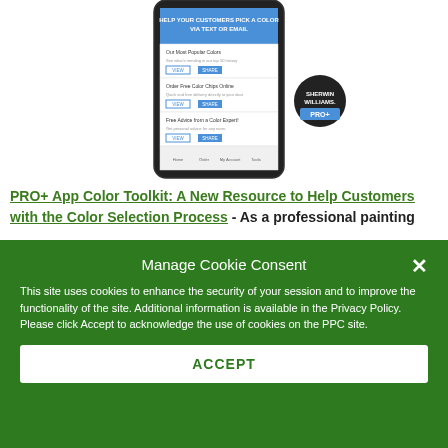[Figure (screenshot): Screenshot of a smartphone showing the Sherwin-Williams PRO+ app with color toolkit features including 'Help Your Customers Pick a Color Via Text or Email', 'Our Most Popular Colors', 'Order Free Color Chips Online', and 'Free Advice from a Color Expert' with VIEW and SHARE buttons. Sherwin-Williams PRO+ logo badge visible to the right.]
PRO+ App Color Toolkit: A New Resource to Help Customers with the Color Selection Process - As a professional painting
Manage Cookie Consent
This site uses cookies to enhance the security of your session and to improve the functionality of the site. Additional information is available in the Privacy Policy. Please click Accept to acknowledge the use of cookies on the PPC site.
ACCEPT